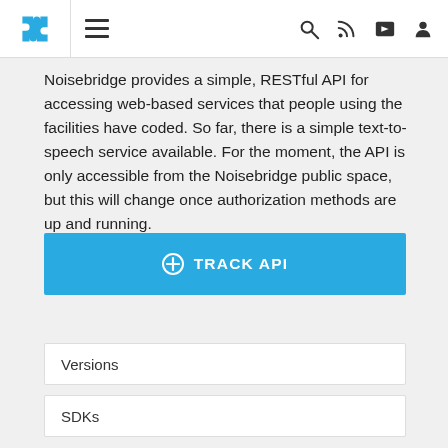Noisebridge API navigation bar with logo, hamburger menu, search, RSS, share, and user icons
Noisebridge provides a simple, RESTful API for accessing web-based services that people using the facilities have coded. So far, there is a simple text-to-speech service available. For the moment, the API is only accessible from the Noisebridge public space, but this will change once authorization methods are up and running.
[Figure (other): Blue button labeled TRACK API with a plus-circle icon]
Versions
SDKs